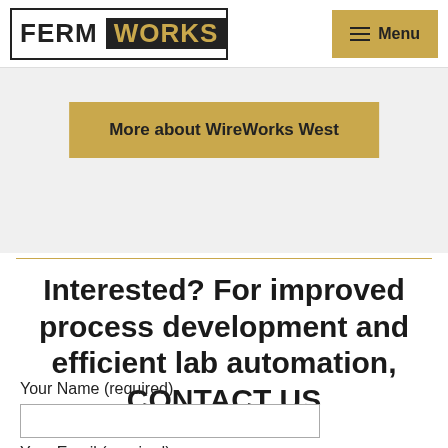FERM WORKS | Menu
[Figure (screenshot): FermWorks logo with FERM in white on white background and WORKS in gold on black background, inside a border]
More about WireWorks West
Interested? For improved process development and efficient lab automation, CONTACT US
Your Name (required)
Your Email (required)